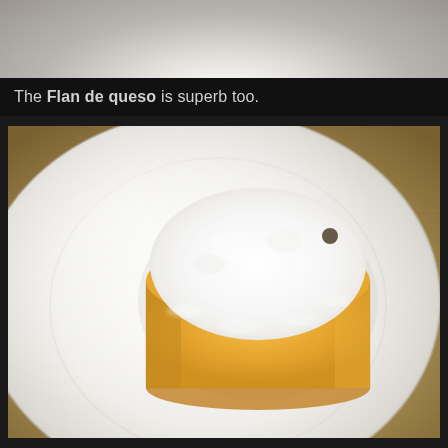[Figure (photo): Top portion of a white plate/dish, cropped, seen from above against a light background]
The Flan de queso is superb too.
[Figure (photo): Overhead close-up photograph of a Flan de queso (cheese flan) dusted with powdered sugar, sitting in a pool of dark caramel sauce, on a large white plate with curved rim, placed on a warm wooden table surface]